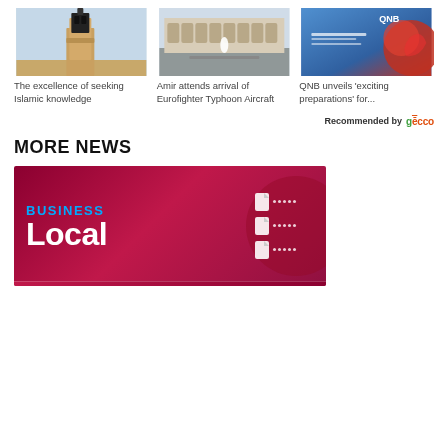[Figure (photo): Photo of a mosque minaret tower against light blue sky]
The excellence of seeking Islamic knowledge
[Figure (photo): Photo of a large plaza or square with white figures and a patterned building facade]
Amir attends arrival of Eurofighter Typhoon Aircraft
[Figure (photo): Photo of a QNB bank billboard advertisement]
QNB unveils 'exciting preparations' for...
Recommended by gēcco
MORE NEWS
[Figure (illustration): Business Local section banner with red/magenta background, BUSINESS in blue text and Local in white bold text]